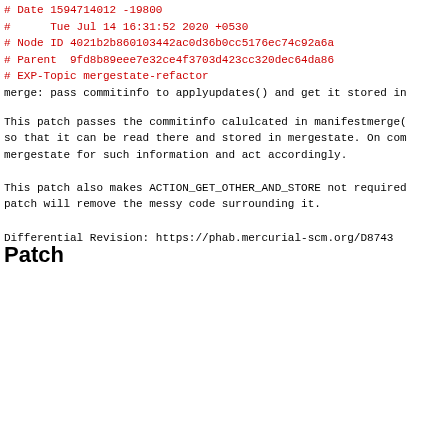# Date 1594714012 -19800
#      Tue Jul 14 16:31:52 2020 +0530
# Node ID 4021b2b860103442ac0d36b0cc5176ec74c92a6a
# Parent  9fd8b89eee7e32ce4f3703d423cc320dec64da86
# EXP-Topic mergestate-refactor
merge: pass commitinfo to applyupdates() and get it stored in
This patch passes the commitinfo calulcated in manifestmerge(
so that it can be read there and stored in mergestate. On com
mergestate for such information and act accordingly.
This patch also makes ACTION_GET_OTHER_AND_STORE not required
patch will remove the messy code surrounding it.
Differential Revision: https://phab.mercurial-scm.org/D8743
Patch
[Figure (screenshot): Code diff showing changes to hgext/remotefilelog/__init__.py. Diff header lines in green and teal, hunk header in red/purple, code lines in black, removed line in red, added line in green, and another hunk header at the bottom.]